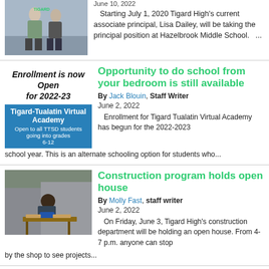[Figure (photo): Two students standing in a school hallway wearing Tigard sweatshirts]
June 10, 2022
Starting July 1, 2020 Tigard High's current associate principal, Lisa Dailey, will be taking the principal position at Hazelbrook Middle School.  ...
[Figure (infographic): Enrollment is now Open for 2022-23 / Tigard-Tualatin Virtual Academy / Open to all TTSD students going into grades 6-12]
Opportunity to do school from your bedroom is still available
By Jack Blouin, Staff Writer
June 2, 2022
Enrollment for Tigard Tualatin Virtual Academy has begun for the 2022-2023 school year. This is an alternate schooling option for students who...
[Figure (photo): Student working with power tools on a construction project]
Construction program holds open house
By Molly Fast, staff writer
June 2, 2022
On Friday, June 3, Tigard High's construction department will be holding an open house. From 4-7 p.m. anyone can stop by the shop to see projects...
[Figure (photo): Partial image at bottom of page]
New social media app encourages people to